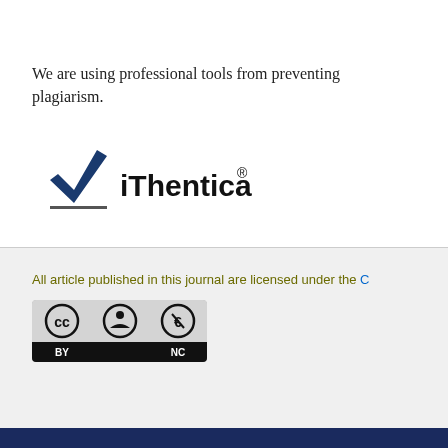We are using professional tools from preventing plagiarism.
[Figure (logo): iThenticate logo with checkmark]
All article published in this journal are licensed under the C
[Figure (logo): Creative Commons BY-NC license badge]